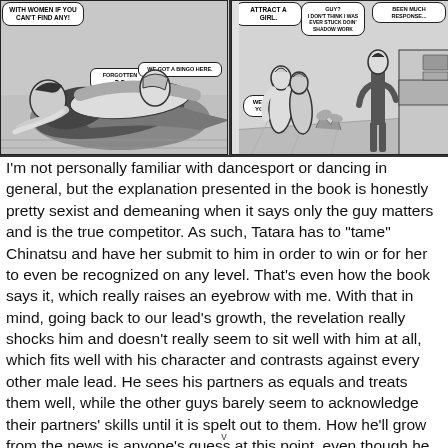[Figure (illustration): Two manga comic panels side by side. Left panel shows two figures wrestling/dancing on the floor, with speech bubbles reading 'WITH WOMEN IF YOU CAN'T FIND ANY!', 'FORGOTTEN', 'WE GOT A BINGO HERE.', and '...'. Right panel shows figures in a dance studio, with speech bubbles reading 'ATTRACT A GIRL.', 'GUY?', 'I DON'T THINK I WAS EVER STUCK DOIN' SHADOW WORK', 'BEEN MUCH RESPONSE...', and 'WELL, BUT YOU'RE...']
I'm not personally familiar with dancesport or dancing in general, but the explanation presented in the book is honestly pretty sexist and demeaning when it says only the guy matters and is the true competitor. As such, Tatara has to "tame" Chinatsu and have her submit to him in order to win or for her to even be recognized on any level. That's even how the book says it, which really raises an eyebrow with me. With that in mind, going back to our lead's growth, the revelation really shocks him and doesn't really seem to sit well with him at all, which fits well with his character and contrasts against every other male lead. He sees his partners as equals and treats them well, while the other guys barely seem to acknowledge their partners' skills until it is spelt out to them. How he'll grow from the news is anyone's guess at this point, even though he seems to be going along with the idea of having to "tame this wild horse." I do hope his development has him try to create his own style of dance that shows how both he and his partner are equal, because the other
v